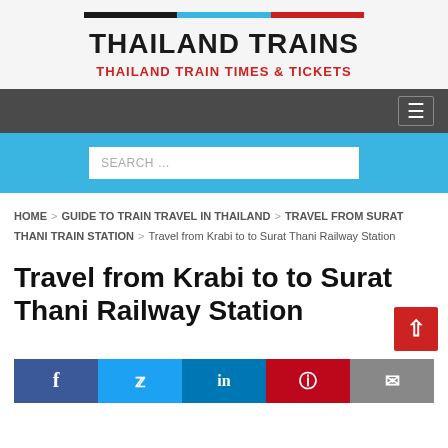THAILAND TRAINS
THAILAND TRAIN TIMES & TICKETS
SEARCH …
HOME > GUIDE TO TRAIN TRAVEL IN THAILAND > TRAVEL FROM SURAT THANI TRAIN STATION > Travel from Krabi to to Surat Thani Railway Station
Travel from Krabi to to Surat Thani Railway Station